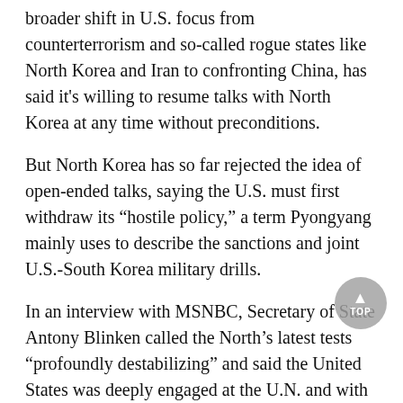broader shift in U.S. focus from counterterrorism and so-called rogue states like North Korea and Iran to confronting China, has said it's willing to resume talks with North Korea at any time without preconditions.
But North Korea has so far rejected the idea of open-ended talks, saying the U.S. must first withdraw its “hostile policy,” a term Pyongyang mainly uses to describe the sanctions and joint U.S.-South Korea military drills.
In an interview with MSNBC, Secretary of State Antony Blinken called the North’s latest tests “profoundly destabilizing” and said the United States was deeply engaged at the U.N. and with key partners, including allies South Korea and Japan, on a response.
“I think some of this is North Korea trying to get attention. It’s done that in the past. It’ll probably continue to do that,” Blinken said. “But we are very focused with allies and partners in making sure that they and we are properly defended and that there are repercussions, consequences for these actions by North Korea.”
The State Department said Biden’s special representative for North Korea, Sung Kim, held separate calls with the nuclear